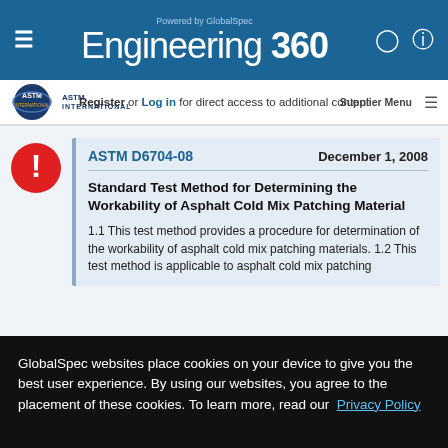Engineering 360 — Powered by GlobalSpec
Register or Log in for direct access to additional content
ASTM D6704-08   December 1, 2008
Standard Test Method for Determining the Workability of Asphalt Cold Mix Patching Material
1.1 This test method provides a procedure for determination of the workability of asphalt cold mix patching materials. 1.2 This test method is applicable to asphalt cold mix patching materials that...
GlobalSpec websites place cookies on your device to give you the best user experience. By using our websites, you agree to the placement of these cookies. To learn more, read our Privacy Policy